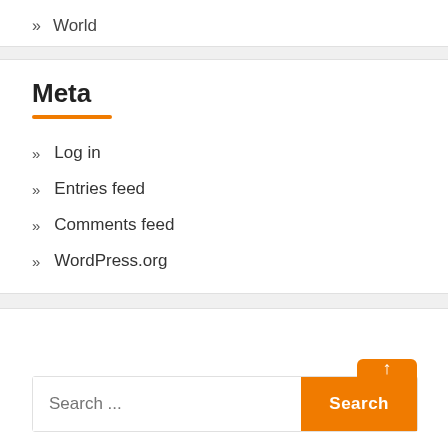» World
Meta
» Log in
» Entries feed
» Comments feed
» WordPress.org
Search ...